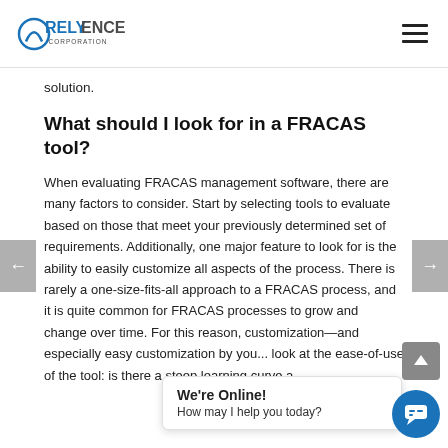Relyence Corporation
solution.
What should I look for in a FRACAS tool?
When evaluating FRACAS management software, there are many factors to consider. Start by selecting tools to evaluate based on those that meet your previously determined set of requirements. Additionally, one major feature to look for is the ability to easily customize all aspects of the process. There is rarely a one-size-fits-all approach to a FRACAS process, and it is quite common for FRACAS processes to grow and change over time. For this reason, customization—and especially easy customization by you... look at the ease-of-use of the tool: is there a steep learning curve a...